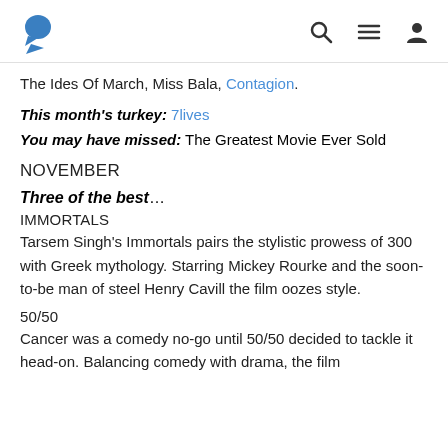[logo] [search icon] [menu icon] [profile icon]
The Ides Of March, Miss Bala, Contagion.
This month's turkey: 7lives
You may have missed: The Greatest Movie Ever Sold
NOVEMBER
Three of the best…
IMMORTALS
Tarsem Singh's Immortals pairs the stylistic prowess of 300 with Greek mythology. Starring Mickey Rourke and the soon-to-be man of steel Henry Cavill the film oozes style.
50/50
Cancer was a comedy no-go until 50/50 decided to tackle it head-on. Balancing comedy with drama, the film